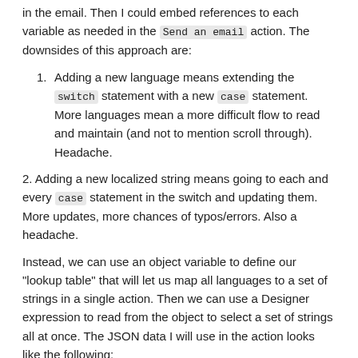in the email. Then I could embed references to each variable as needed in the Send an email action. The downsides of this approach are:
1. Adding a new language means extending the switch statement with a new case statement. More languages mean a more difficult flow to read and maintain (and not to mention scroll through). Headache.
2. Adding a new localized string means going to each and every case statement in the switch and updating them. More updates, more chances of typos/errors. Also a headache.
Instead, we can use an object variable to define our "lookup table" that will let us map all languages to a set of strings in a single action. Then we can use a Designer expression to read from the object to select a set of strings all at once. The JSON data I will use in the action looks like the following:
{
    "en-US": {
        "greeting": "Hello",